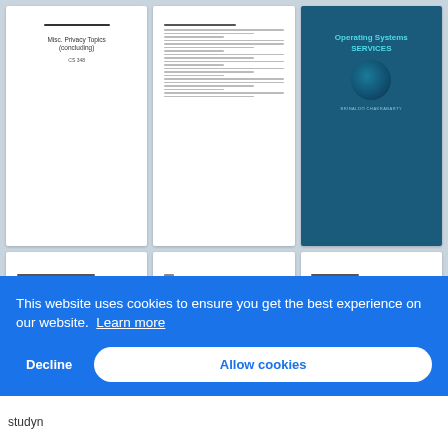[Figure (screenshot): Thumbnail of document titled 'Misc. Privacy Topics (concluding)' with subtitle 'CS 348']
[Figure (screenshot): Thumbnail of a document with bullet points and text lines]
[Figure (screenshot): Blue slide titled 'Operating Systems SERVICES' with author 'BRINALDO CHAKRABARTY']
[Figure (screenshot): Thumbnail of a text document with heading and body paragraphs, some blue hyperlinks]
[Figure (screenshot): Thumbnail of a document with header logo and red/formatted text]
[Figure (screenshot): Thumbnail of a multi-section text document]
[Figure (screenshot): Thumbnail of a text document with centered title and body text]
[Figure (screenshot): Thumbnail of a document with header and body paragraphs]
This website uses cookies to ensure you get the best experience on our website. Learn more
Decline
Allow cookies
studyn...